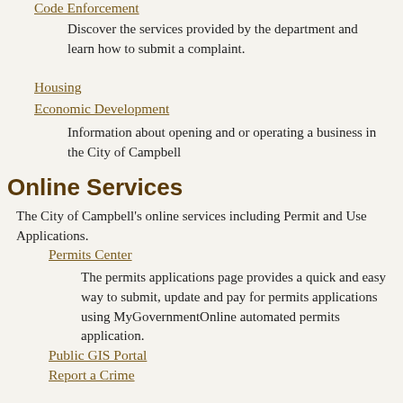Code Enforcement
Discover the services provided by the department and learn how to submit a complaint.
Housing
Economic Development
Information about opening and or operating a business in the City of Campbell
Online Services
The City of Campbell's online services including Permit and Use Applications.
Permits Center
The permits applications page provides a quick and easy way to submit, update and pay for permits applications using MyGovernmentOnline automated permits application.
Public GIS Portal
Report a Crime
Public Records
Partner Agencies
Our partnering agencies providing library, utility and fire